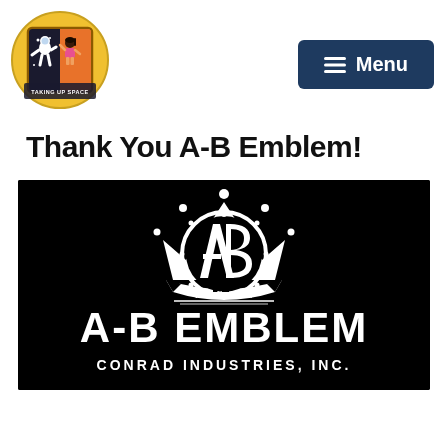[Figure (logo): Taking Up Space logo: circular badge with astronaut character, yellow background, text 'TAKING UP SPACE' at bottom]
[Figure (logo): Menu button: dark navy rectangle with three horizontal lines and text 'Menu' in white]
Thank You A-B Emblem!
[Figure (logo): A-B Emblem logo on black background: crown with intertwined A and B letters, 'Fine Emblems' script, large 'A-B EMBLEM' text, 'CONRAD INDUSTRIES, INC.' below]